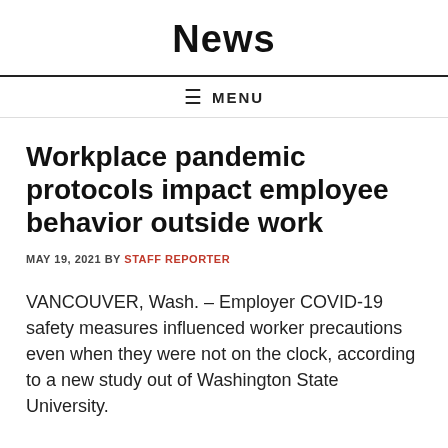News
≡ MENU
Workplace pandemic protocols impact employee behavior outside work
MAY 19, 2021 BY STAFF REPORTER
VANCOUVER, Wash. – Employer COVID-19 safety measures influenced worker precautions even when they were not on the clock, according to a new study out of Washington State University.